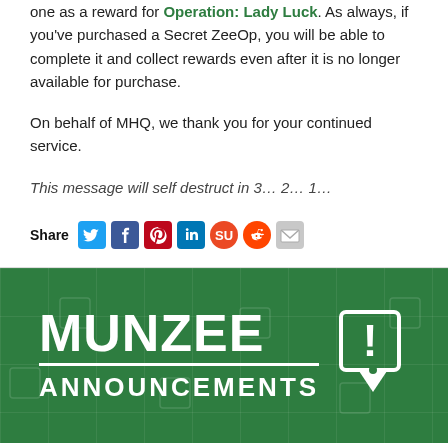one as a reward for Operation: Lady Luck. As always, if you've purchased a Secret ZeeOp, you will be able to complete it and collect rewards even after it is no longer available for purchase.
On behalf of MHQ, we thank you for your continued service.
This message will self destruct in 3… 2… 1…
[Figure (infographic): Social share bar with icons for Twitter, Facebook, Pinterest, LinkedIn, StumbleUpon, Reddit, and Email]
[Figure (logo): Munzee Announcements banner with green background, white bold text reading MUNZEE and ANNOUNCEMENTS, and a pin icon with exclamation mark]